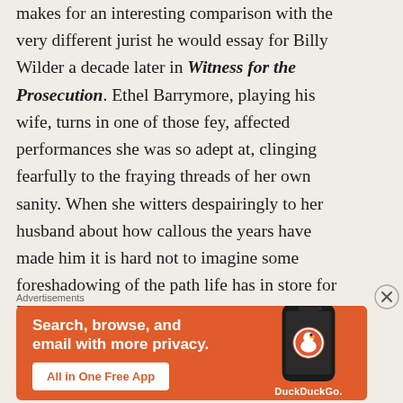makes for an interesting comparison with the very different jurist he would essay for Billy Wilder a decade later in Witness for the Prosecution. Ethel Barrymore, playing his wife, turns in one of those fey, affected performances she was so adept at, clinging fearfully to the fraying threads of her own sanity. When she witters despairingly to her husband about how callous the years have made him it is hard not to imagine some foreshadowing of the path life has in store for Peck and Todd.  Also among the supporting cast are Charles Coburn and Joan Tetzel as Peck's solicitor friend and his
Advertisements
[Figure (other): DuckDuckGo advertisement banner with orange background showing text 'Search, browse, and email with more privacy. All in One Free App' with phone image and DuckDuckGo logo]